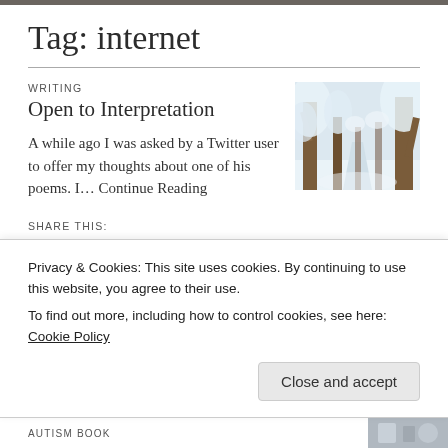Tag: internet
WRITING
Open to Interpretation
[Figure (photo): Snow-covered trees in a winter forest with a path, branches heavily frosted with white snow]
A while ago I was asked by a Twitter user to offer my thoughts about one of his poems. I... Continue Reading
SHARE THIS:
Facebook
Pinterest 2
Print
Email
LIKE THIS
Privacy & Cookies: This site uses cookies. By continuing to use this website, you agree to their use.
To find out more, including how to control cookies, see here: Cookie Policy
Close and accept
AUTISM BOOK